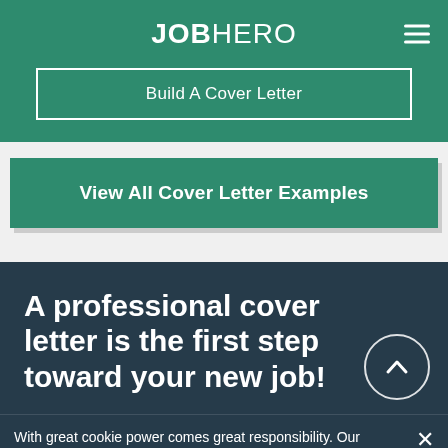JOBHERO
Build A Cover Letter
View All Cover Letter Examples
A professional cover letter is the first step toward your new job!
With great cookie power comes great responsibility. Our cookies only collect personal data when you opt-in to create a document. Discover More